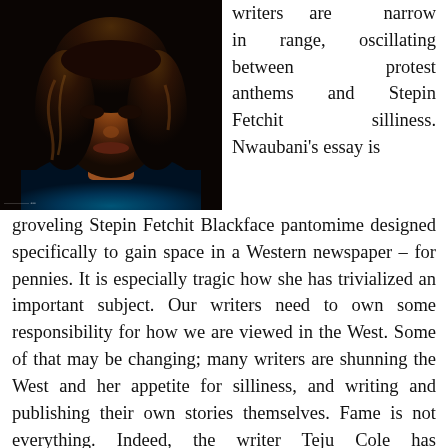[Figure (photo): Portrait photograph of a Black woman with long curly hair, wearing a patterned top, photographed from the chest up against a dark background.]
writers are narrow in range, oscillating between protest anthems and Stepin Fetchit silliness. Nwaubani's essay is groveling Stepin Fetchit Blackface pantomime designed specifically to gain space in a Western newspaper – for pennies. It is especially tragic how she has trivialized an important subject. Our writers need to own some responsibility for how we are viewed in the West. Some of that may be changing; many writers are shunning the West and her appetite for silliness, and writing and publishing their own stories themselves. Fame is not everything. Indeed, the writer Teju Cole has distinguished himself by